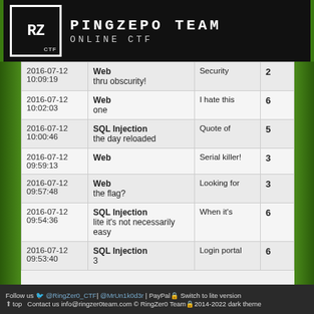RingZero Team Online CTF
| Date | Type / Name | Description | Pts |
| --- | --- | --- | --- |
| 2016-07-12 10:09:19 | Web / thru obscurity! | Security | 2 |
| 2016-07-12 10:02:03 | Web / one | I hate this | 6 |
| 2016-07-12 10:00:46 | SQL Injection / the day reloaded | Quote of | 5 |
| 2016-07-12 09:59:13 | Web | Serial killer! | 3 |
| 2016-07-12 09:57:48 | Web / the flag? | Looking for | 3 |
| 2016-07-12 09:54:36 | SQL Injection / lite it's not necessarily easy | When it's | 6 |
| 2016-07-12 09:53:40 | SQL Injection / 3 | Login portal | 6 |
Follow us @RingZer0_CTF| @MrUn1k0d3r | PayPal | Switch to lite version | ↑ top | Contact us info@ringzer0team.com © RingZer0 Team 2014-2022 | dark theme